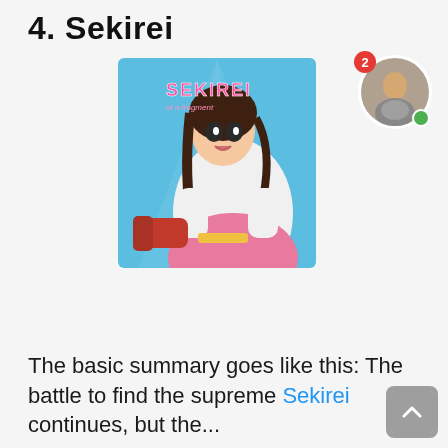4. Sekirei
[Figure (illustration): Anime cover art for Sekirei showing a female anime character in white and pink outfit with red gloves, with the title SEKIREI displayed in pink letters on a blue background]
The basic summary goes like this: The battle to find the supreme Sekirei continues, but the...